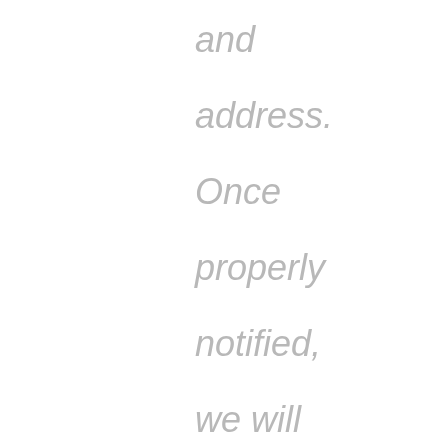and address. Once properly notified, we will remove your name from the lists and disclosures as soon as we
[Figure (illustration): Accessibility icon — a blue circle with a white stylized person figure inside, indicating accessibility features]